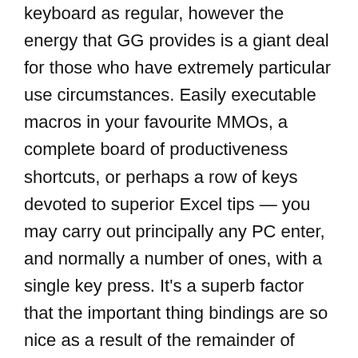keyboard as regular, however the energy that GG provides is a giant deal for those who have extremely particular use circumstances. Easily executable macros in your favourite MMOs, a complete board of productiveness shortcuts, or perhaps a row of keys devoted to superior Excel tips — you may carry out principally any PC enter, and normally a number of ones, with a single key press. It's a superb factor that the important thing bindings are so nice as a result of the remainder of SteelSeries GG is a slog. The RGB lighting engine works with varied totally different results, nevertheless it's not practically as versatile as Corsair iCue (and the colours in GG aren't consultant of the colours in your keyboard). The built-in macro recorder works, nevertheless it's not as intuitive as Logitech G Hub. The checklist goes on. My largest problem with GG is how a lot bloat there's, although. There's a devoted part for giveaways, for instance, and the Moments part captures moments of key